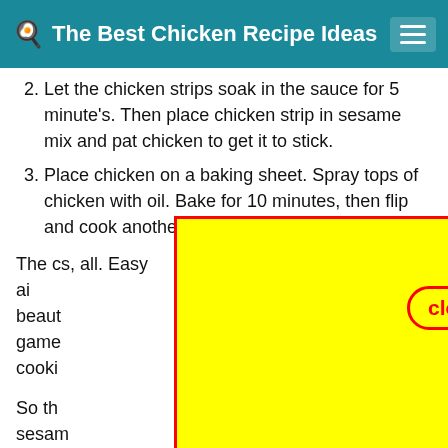The Best Chicken Recipe Ideas
2. Let the chicken strips soak in the sauce for 5 minute's. Then place chicken strip in sesame mix and pat chicken to get it to stick.
3. Place chicken on a baking sheet. Spray tops of chicken with oil. Bake for 10 minutes, then flip and cook another 10 minutes.
The chicken recipe ideas, all. Easy chicken dinners in the air beautifully. game and cooking od chick
So th od sesame you very much for reading. I am sure you will make this
[Figure (other): Yellow advertisement overlay with red border covering center of page, with a 'close' button in red text on yellow/orange pill-shaped background with red border]